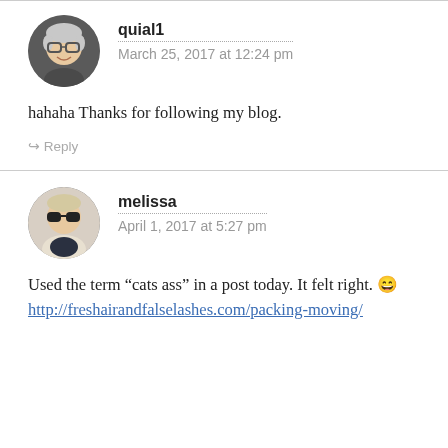[Figure (photo): Round avatar photo of an older woman with glasses and gray hair, smiling]
quial1
March 25, 2017 at 12:24 pm
hahaha Thanks for following my blog.
↪ Reply
[Figure (photo): Round avatar photo of a woman with dark sunglasses wearing a light blazer and dark top]
melissa
April 1, 2017 at 5:27 pm
Used the term “cats ass” in a post today. It felt right. 😀 http://freshairandfalselashes.com/packing-moving/